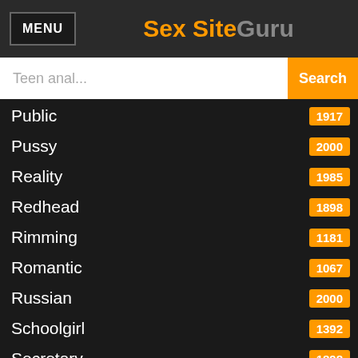MENU  Sex SiteGuru
Teen anal... Search
Public 1917
Pussy 2000
Reality 1985
Redhead 1898
Rimming 1181
Romantic 1067
Russian 2000
Schoolgirl 1392
Secretary 1898
Shaved 1924